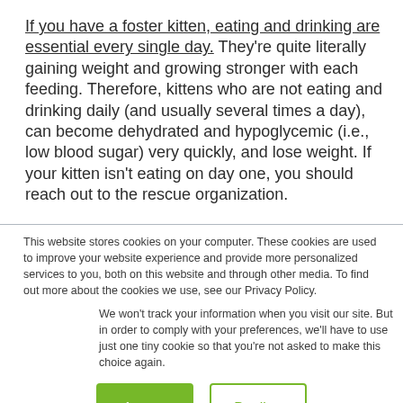If you have a foster kitten, eating and drinking are essential every single day. They're quite literally gaining weight and growing stronger with each feeding. Therefore, kittens who are not eating and drinking daily (and usually several times a day), can become dehydrated and hypoglycemic (i.e., low blood sugar) very quickly, and lose weight. If your kitten isn't eating on day one, you should reach out to the rescue organization.
This website stores cookies on your computer. These cookies are used to improve your website experience and provide more personalized services to you, both on this website and through other media. To find out more about the cookies we use, see our Privacy Policy.
We won't track your information when you visit our site. But in order to comply with your preferences, we'll have to use just one tiny cookie so that you're not asked to make this choice again.